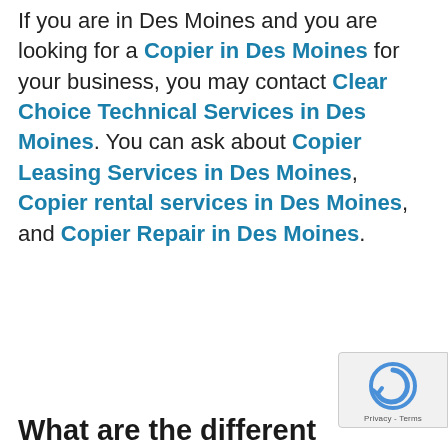If you are in Des Moines and you are looking for a Copier in Des Moines for your business, you may contact Clear Choice Technical Services in Des Moines. You can ask about Copier Leasing Services in Des Moines, Copier rental services in Des Moines, and Copier Repair in Des Moines.
What are the different